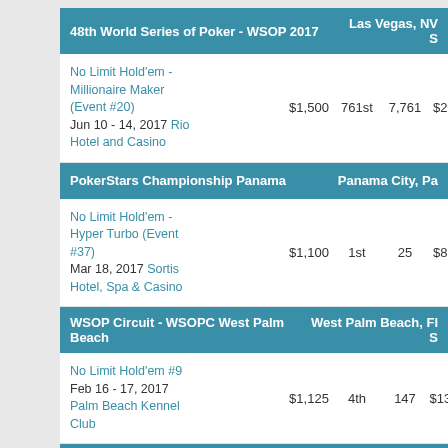48th World Series of Poker - WSOP 2017 | Las Vegas, NV S
No Limit Hold'em - Millionaire Maker (Event #20)
Jun 10 - 14, 2017 Rio Hotel and Casino
$1,500 | 761st | 7,761 | $2,861 | —
PokerStars Championship Panama | Panama City, Pa
No Limit Hold'em - Hyper Turbo (Event #37)
Mar 18, 2017 Sortis Hotel, Spa & Casino
$1,100 | 1st | 25 | $8,370 | —
WSOP Circuit - WSOPC West Palm Beach | West Palm Beach, Fl S
No Limit Hold'em #9
Feb 16 - 17, 2017 Palm Beach Kennel Club
$1,125 | 4th | 147 | $13,493 | —
UK & Ireland Poker Tour - UKIPT London | London, , Eng